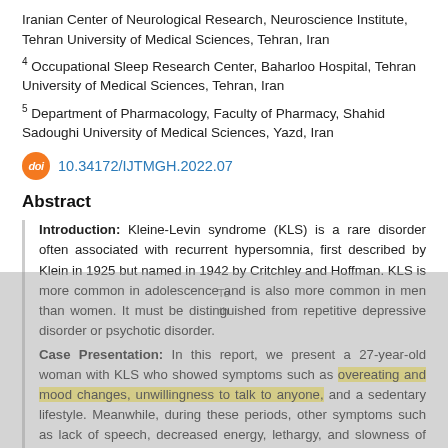Iranian Center of Neurological Research, Neuroscience Institute, Tehran University of Medical Sciences, Tehran, Iran
4 Occupational Sleep Research Center, Baharloo Hospital, Tehran University of Medical Sciences, Tehran, Iran
5 Department of Pharmacology, Faculty of Pharmacy, Shahid Sadoughi University of Medical Sciences, Yazd, Iran
doi 10.34172/IJTMGH.2022.07
Abstract
Introduction: Kleine-Levin syndrome (KLS) is a rare disorder often associated with recurrent hypersomnia, first described by Klein in 1925 but named in 1942 by Critchley and Hoffman. KLS is more common in adolescence and is also more common in men than women. It must be distinguished from repetitive depressive disorder or psychotic disorder. Case Presentation: In this report, we present a 27-year-old woman with KLS who showed symptoms such as overeating and mood changes, unwillingness to talk to anyone, and a sedentary lifestyle. Meanwhile, during these periods, other symptoms such as lack of speech, decreased energy, lethargy, and slowness of mental and